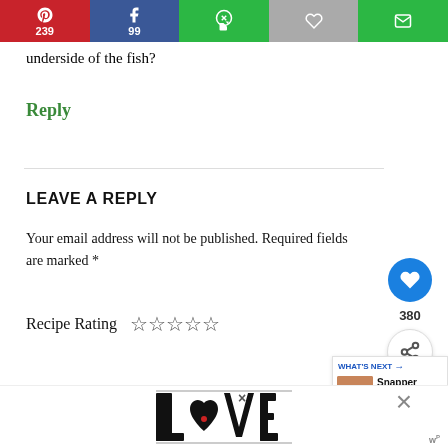[Figure (screenshot): Social share bar with Pinterest (239), Facebook (99), WhatsApp, heart, and email buttons]
underside of the fish?
Reply
LEAVE A REPLY
Your email address will not be published. Required fields are marked *
Recipe Rating ☆☆☆☆☆
[Figure (infographic): Side panel with heart button, count 380, and share icon]
[Figure (infographic): What's Next panel showing Snapper Recipes]
[Figure (screenshot): Advertisement overlay showing LOVE decorative art text at bottom of page]